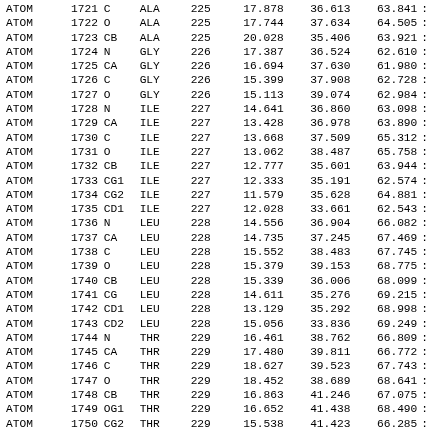| Record | Serial | Name | ResName | ResSeq | X | Y | Z | ... |
| --- | --- | --- | --- | --- | --- | --- | --- | --- |
| ATOM | 1721 | C | ALA | 225 | 17.878 | 36.613 | 63.841 |  |
| ATOM | 1722 | O | ALA | 225 | 17.744 | 37.634 | 64.505 |  |
| ATOM | 1723 | CB | ALA | 225 | 20.028 | 35.406 | 63.921 |  |
| ATOM | 1724 | N | GLY | 226 | 17.387 | 36.524 | 62.610 |  |
| ATOM | 1725 | CA | GLY | 226 | 16.694 | 37.630 | 61.980 |  |
| ATOM | 1726 | C | GLY | 226 | 15.399 | 37.908 | 62.728 |  |
| ATOM | 1727 | O | GLY | 226 | 15.113 | 39.074 | 62.984 |  |
| ATOM | 1728 | N | ILE | 227 | 14.641 | 36.860 | 63.098 |  |
| ATOM | 1729 | CA | ILE | 227 | 13.428 | 36.978 | 63.890 |  |
| ATOM | 1730 | C | ILE | 227 | 13.668 | 37.509 | 65.312 |  |
| ATOM | 1731 | O | ILE | 227 | 13.062 | 38.487 | 65.758 |  |
| ATOM | 1732 | CB | ILE | 227 | 12.777 | 35.601 | 63.944 |  |
| ATOM | 1733 | CG1 | ILE | 227 | 12.333 | 35.191 | 62.574 |  |
| ATOM | 1734 | CG2 | ILE | 227 | 11.579 | 35.628 | 64.881 |  |
| ATOM | 1735 | CD1 | ILE | 227 | 12.028 | 33.661 | 62.543 |  |
| ATOM | 1736 | N | LEU | 228 | 14.556 | 36.904 | 66.082 |  |
| ATOM | 1737 | CA | LEU | 228 | 14.735 | 37.245 | 67.469 |  |
| ATOM | 1738 | C | LEU | 228 | 15.552 | 38.483 | 67.745 |  |
| ATOM | 1739 | O | LEU | 228 | 15.379 | 39.153 | 68.775 |  |
| ATOM | 1740 | CB | LEU | 228 | 15.339 | 36.006 | 68.099 |  |
| ATOM | 1741 | CG | LEU | 228 | 14.611 | 35.276 | 69.215 |  |
| ATOM | 1742 | CD1 | LEU | 228 | 13.129 | 35.292 | 68.998 |  |
| ATOM | 1743 | CD2 | LEU | 228 | 15.056 | 33.836 | 69.249 |  |
| ATOM | 1744 | N | THR | 229 | 16.461 | 38.762 | 66.809 |  |
| ATOM | 1745 | CA | THR | 229 | 17.480 | 39.811 | 66.772 |  |
| ATOM | 1746 | C | THR | 229 | 18.627 | 39.523 | 67.743 |  |
| ATOM | 1747 | O | THR | 229 | 18.452 | 38.689 | 68.641 |  |
| ATOM | 1748 | CB | THR | 229 | 16.863 | 41.246 | 67.075 |  |
| ATOM | 1749 | OG1 | THR | 229 | 16.652 | 41.438 | 68.490 |  |
| ATOM | 1750 | CG2 | THR | 229 | 15.538 | 41.423 | 66.285 |  |